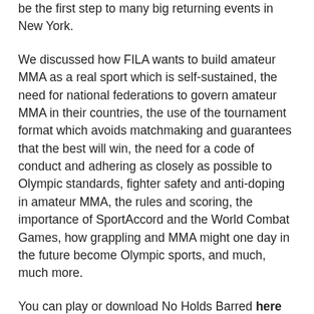be the first step to many big returning events in New York.
We discussed how FILA wants to build amateur MMA as a real sport which is self-sustained, the need for national federations to govern amateur MMA in their countries, the use of the tournament format which avoids matchmaking and guarantees that the best will win, the need for a code of conduct and adhering as closely as possible to Olympic standards, fighter safety and anti-doping in amateur MMA, the rules and scoring, the importance of SportAccord and the World Combat Games, how grappling and MMA might one day in the future become Olympic sports, and much, much more.
You can play or download No Holds Barred here and here. If one link doesn't work, please try another.
No Holds Barred is also available on mobile phones and iPads through Stitcher.
Also, No Holds Barred is available through iTunes.
The No Holds Barred theme song is called "The Hatchet"